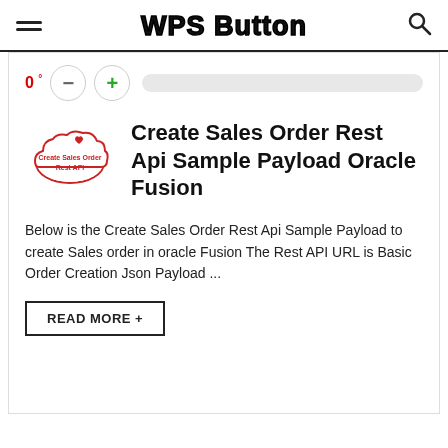WPS Button
[Figure (screenshot): Font size controls: 0° label in red, minus button, plus button, and a gray progress/scroll bar]
[Figure (illustration): Cloud icon with heart, labeled 'Create Sales Order Rest API' in red outline style]
Create Sales Order Rest Api Sample Payload Oracle Fusion
Below is the Create Sales Order Rest Api Sample Payload to create Sales order in oracle Fusion The Rest API URL is Basic Order Creation Json Payload ...
READ MORE +